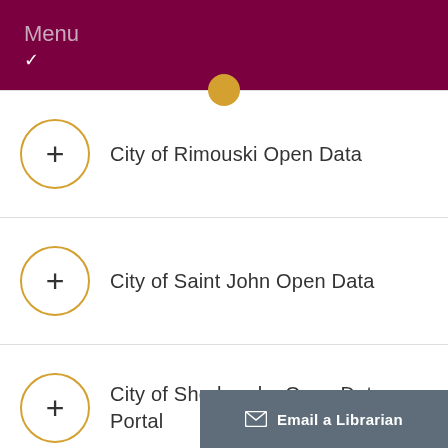Menu
City of Rimouski Open Data
City of Saint John Open Data
City of Sherbrooke Open Data Portal
Email a Librarian